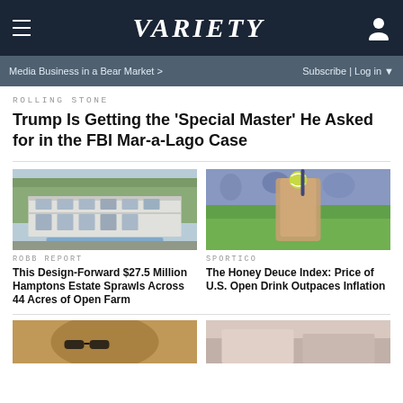VARIETY
Media Business in a Bear Market > | Subscribe | Log in
ROLLING STONE
Trump Is Getting the ‘Special Master’ He Asked for in the FBI Mar-a-Lago Case
[Figure (photo): Modern glass and concrete estate with swimming pool surrounded by trees]
ROBB REPORT
This Design-Forward $27.5 Million Hamptons Estate Sprawls Across 44 Acres of Open Farm
[Figure (photo): Hand holding a Honey Deuce cocktail with tennis ball garnish at a tennis stadium]
SPORTICO
The Honey Deuce Index: Price of U.S. Open Drink Outpaces Inflation
[Figure (photo): Partial bottom-left image, person with sunglasses]
[Figure (photo): Partial bottom-right image]